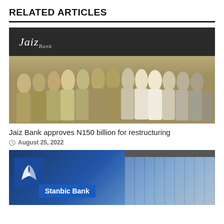RELATED ARTICLES
[Figure (photo): Group photo of men in traditional attire standing in front of Jaiz Bank branch]
Jaiz Bank approves N150 billion for restructuring
August 25, 2022
[Figure (photo): Stanbic Bank building exterior showing signage and glass facade]